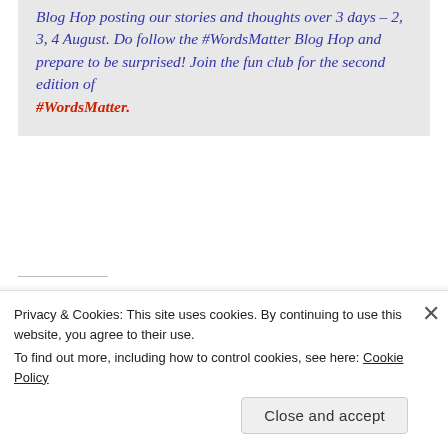Blog Hop posting our stories and thoughts over 3 days – 2, 3, 4 August. Do follow the #WordsMatter Blog Hop and prepare to be surprised! Join the fun club for the second edition of #WordsMatter.
Share this:
Privacy & Cookies: This site uses cookies. By continuing to use this website, you agree to their use. To find out more, including how to control cookies, see here: Cookie Policy
Close and accept